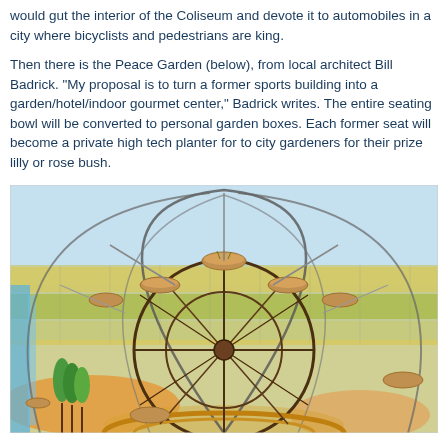would gut the interior of the Coliseum and devote it to automobiles in a city where bicyclists and pedestrians are king.
Then there is the Peace Garden (below), from local architect Bill Badrick. "My proposal is to turn a former sports building into a garden/hotel/indoor gourmet center," Badrick writes. The entire seating bowl will be converted to personal garden boxes. Each former seat will become a private high tech planter for to city gardeners for their prize lilly or rose bush.
[Figure (illustration): A colored pencil sketch/drawing of an architectural concept called the Peace Garden. It shows a large domed structure with a ferris wheel-like circular framework in the center. The interior shows garden levels arranged in tiers, with green trees visible on the left side. The drawing uses pastel colors including blue (sky), yellow/orange (ground), and green (vegetation). Small planter pods are suspended from the circular framework. The background shows a colorful mosaic-like wall.]